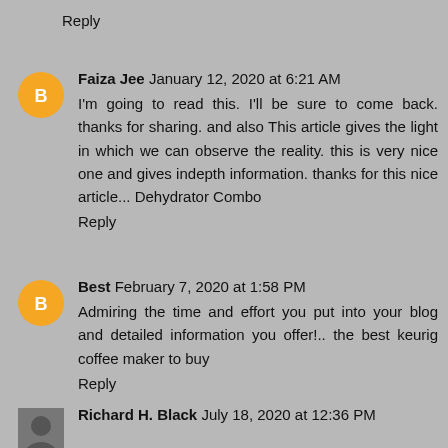Reply
Faiza Jee  January 12, 2020 at 6:21 AM
I'm going to read this. I'll be sure to come back. thanks for sharing. and also This article gives the light in which we can observe the reality. this is very nice one and gives indepth information. thanks for this nice article... Dehydrator Combo
Reply
Best  February 7, 2020 at 1:58 PM
Admiring the time and effort you put into your blog and detailed information you offer!.. the best keurig coffee maker to buy
Reply
Richard H. Black  July 18, 2020 at 12:36 PM